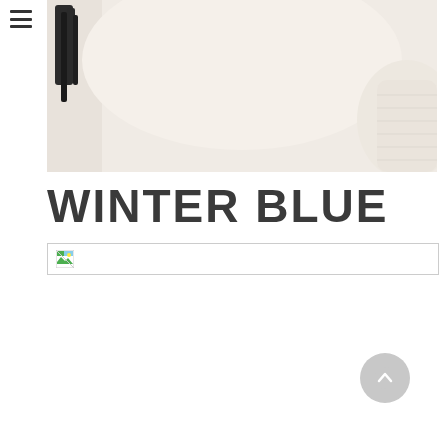[Figure (photo): Hero image of a person wearing a cream/white knit hat and sweater, partial view, light pink/beige tones]
WINTER BLUE
[Figure (photo): Broken/failed image placeholder with small image icon]